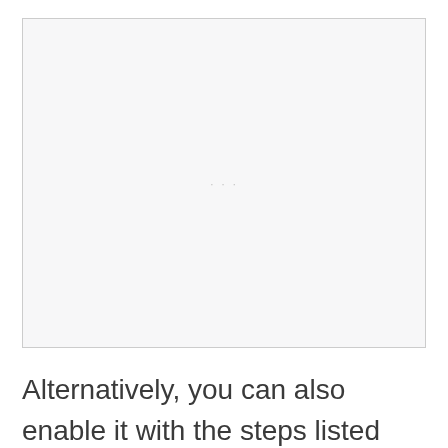[Figure (screenshot): A nearly blank light gray screenshot placeholder area with faint text in the center]
Alternatively, you can also enable it with the steps listed below. But make note that